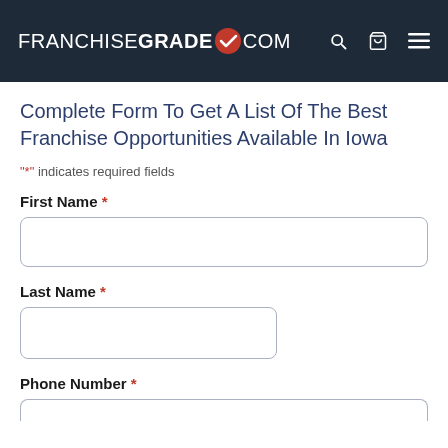FRANCHISEGRADE✓.COM
Complete Form To Get A List Of The Best Franchise Opportunities Available In Iowa
"*" indicates required fields
First Name *
Last Name *
Phone Number *